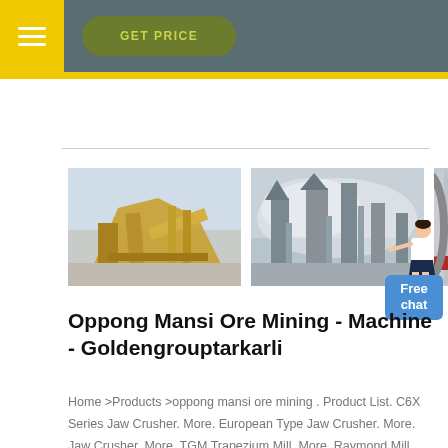GET PRICE
[Figure (photo): Three mining equipment photos: (1) large yellow mining conveyor/crusher machinery, (2) industrial plant with dust/mist, (3) close-up of large cylindrical ball mill with red accent]
[Figure (illustration): Customer service representative figure pointing, with blue Free chat button]
Oppong Mansi Ore Mining - Machine - Goldengrouptarkarli
Home >Products >oppong mansi ore mining . Product List. C6X Series Jaw Crusher. More. European Type Jaw Crusher. More. Jaw Crusher. More. TGM Trapezium Mill. More. Raymond Mill.